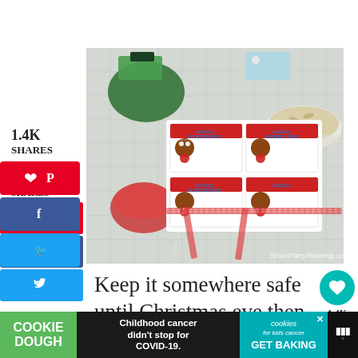[Figure (photo): Craft supplies for making magical reindeer food: green glitter, red glitter, oats in a bowl, printed reindeer food tags with Rudolph design, and red/white gingham ribbon on a white tiled surface. Watermark: SmartPartyPlanning.com]
Keep it somewhere safe until Christmas eve then sprinkle
[Figure (infographic): Advertisement banner: Cookie Dough logo on green background, text 'Childhood cancer didn't stop for COVID-19.', Cookies for Kids' Cancer logo with GET BAKING text on teal background]